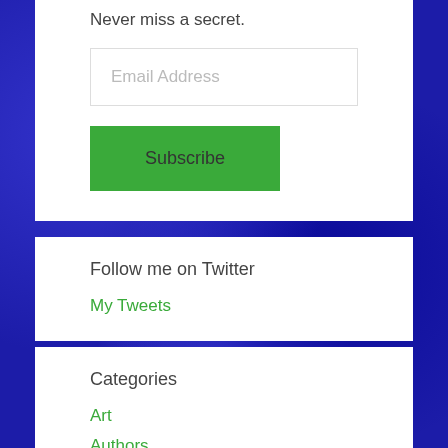Never miss a secret.
Email Address
Subscribe
Follow me on Twitter
My Tweets
Categories
Art
Authors